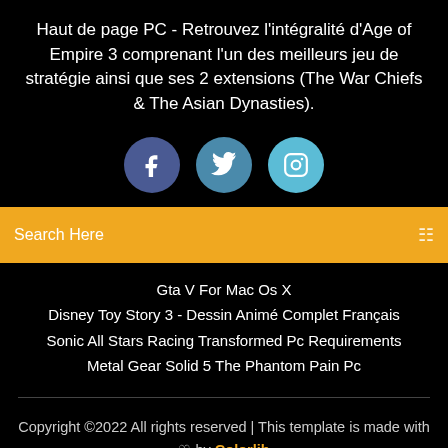Haut de page PC - Retrouvez l'intégralité d'Age of Empire 3 comprenant l'un des meilleurs jeu de stratégie ainsi que ses 2 extensions (The War Chiefs & The Asian Dynasties).
[Figure (illustration): Three social media icons: Facebook (dark blue circle with 'f'), Twitter (medium blue circle with bird icon), Instagram (light blue circle with camera icon)]
Search Here
Gta V For Mac Os X
Disney Toy Story 3 - Dessin Animé Complet Français
Sonic All Stars Racing Transformed Pc Requirements
Metal Gear Solid 5 The Phantom Pain Pc
Copyright ©2022 All rights reserved | This template is made with ♡ by Colorlib